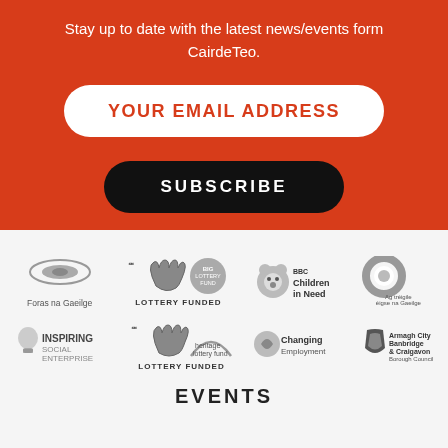Stay up to date with the latest news/events form CairdeTeo.
[Figure (other): Email input field with placeholder text YOUR EMAIL ADDRESS, white rounded pill shape on red background]
[Figure (other): Black rounded SUBSCRIBE button on red background]
[Figure (other): Row of sponsor/partner logos in greyscale: Foras na Gaeilge, National Lottery Funded (Big Lottery Fund), BBC Children in Need, Ag Tréigile (Gaeilge org)]
[Figure (other): Row of sponsor/partner logos in greyscale: Inspiring Social Enterprise, Heritage Lottery Fund Lottery Funded, Changing Employment, Armagh City Banbridge & Craigavon Borough Council]
EVENTS